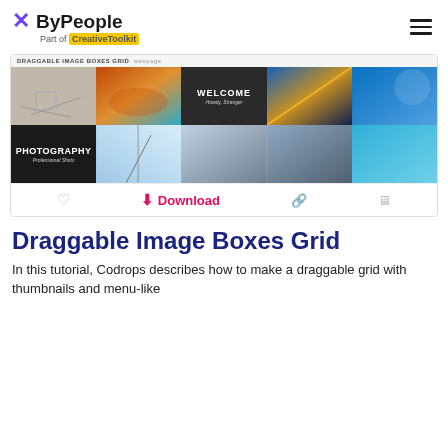ByPeople — Part of CreativeToolkit
[Figure (screenshot): Draggable Image Boxes Grid preview showing a grid of 10 photo thumbnails in 2 rows and 5 columns, with a dark 'WELCOME' cell and a 'PHOTOGRAPHY Professional Shots' cell, plus a download action bar below.]
Draggable Image Boxes Grid
In this tutorial, Codrops describes how to make a draggable grid with thumbnails and menu-like